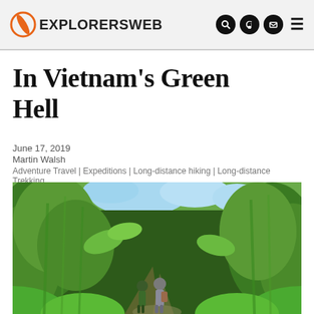EXPLORERSWEB
In Vietnam's Green Hell
June 17, 2019
Martin Walsh
Adventure Travel | Expeditions | Long-distance hiking | Long-distance Trekking
[Figure (photo): Two hikers walking along a jungle trail surrounded by dense green bamboo and tropical forest vegetation in Vietnam.]